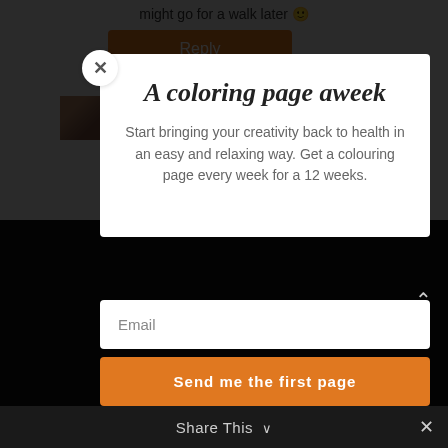might go for a walk later 🙂
Reply
linda on
[Figure (screenshot): Modal popup overlay on a website. Contains a close (X) button in top-left circle, title 'A coloring page aweek', descriptive text, email input field, and 'Send me the first page' button.]
A coloring page aweek
Start bringing your creativity back to health in an easy and relaxing way. Get a colouring page every week for a 12 weeks.
Email
Send me the first page
Share This ∨